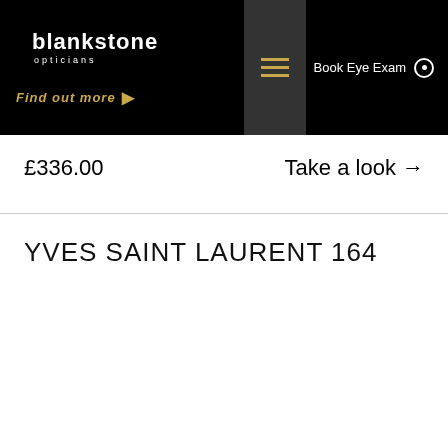[Figure (logo): Blankstone Opticians logo - white text on black background]
Find out more →
£336.00
Take a look →
YVES SAINT LAURENT 164